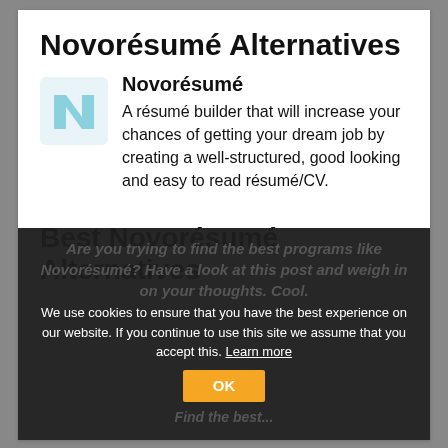Novorésumé Alternatives
[Figure (logo): Novorésumé logo – a light blue stylized letter N on white background]
Novorésumé
A résumé builder that will increase your chances of getting your dream job by creating a well-structured, good looking and easy to read résumé/CV.
Best Novorésumé Alternatives
Are you trying to find the best programs like Novorésumé? Have a look at this post and weigh in on your thoughts. Cool.
We use cookies to ensure that you have the best experience on our website. If you continue to use this site we assume that you accept this. Learn more
OK